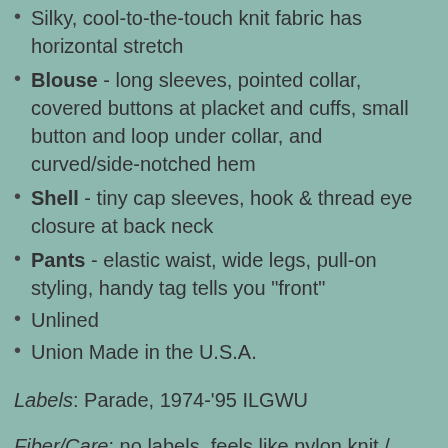Silky, cool-to-the-touch knit fabric has horizontal stretch
Blouse - long sleeves, pointed collar, covered buttons at placket and cuffs, small button and loop under collar, and curved/side-notched hem
Shell - tiny cap sleeves, hook & thread eye closure at back neck
Pants - elastic waist, wide legs, pull-on styling, handy tag tells you "front"
Unlined
Union Made in the U.S.A.
Labels: Parade, 1974-'95 ILGWU
Fiber/Care: no labels, feels like nylon knit / washable, hang dry
Condition: there's a small run/ladder at the bottom of the right leg on the back (I'd put a spot of clear nail